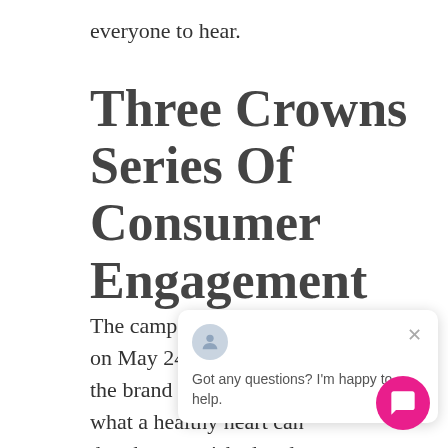everyone to hear.
Three Crowns Series Of Consumer Engagement
The campa[ign which se]t [off] on May 24[...] the brand [...] what a healthy heart can do when nourished and properly cared for.